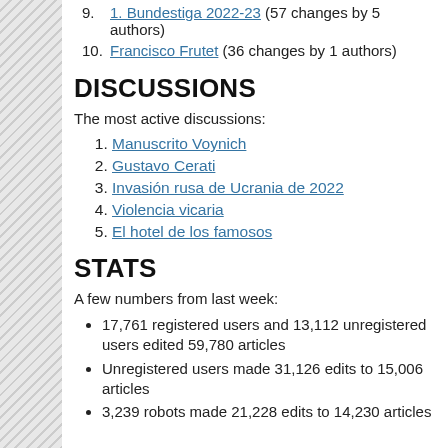9. 1. Bundestiga 2022-23 (57 changes by 5 authors)
10. Francisco Frutet (36 changes by 1 authors)
DISCUSSIONS
The most active discussions:
1. Manuscrito Voynich
2. Gustavo Cerati
3. Invasión rusa de Ucrania de 2022
4. Violencia vicaria
5. El hotel de los famosos
STATS
A few numbers from last week:
17,761 registered users and 13,112 unregistered users edited 59,780 articles
Unregistered users made 31,126 edits to 15,006 articles
3,239 robots made 21,228 edits to 14,230 articles